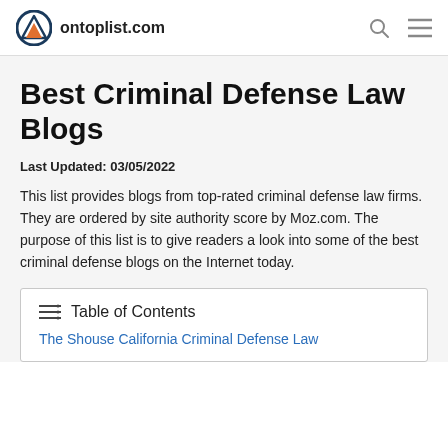ontoplist.com
Best Criminal Defense Law Blogs
Last Updated: 03/05/2022
This list provides blogs from top-rated criminal defense law firms. They are ordered by site authority score by Moz.com. The purpose of this list is to give readers a look into some of the best criminal defense blogs on the Internet today.
| Table of Contents |
| --- |
| The Shouse California Criminal Defense Law |